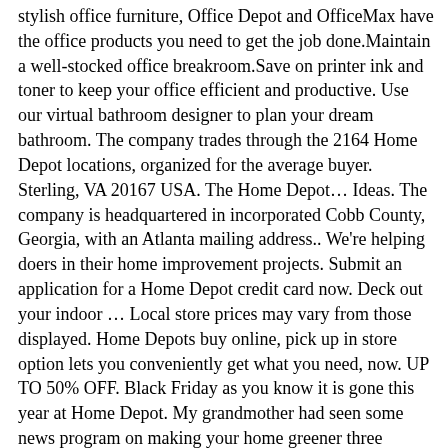stylish office furniture, Office Depot and OfficeMax have the office products you need to get the job done.Maintain a well-stocked office breakroom.Save on printer ink and toner to keep your office efficient and productive. Use our virtual bathroom designer to plan your dream bathroom. The company trades through the 2164 Home Depot locations, organized for the average buyer. Sterling, VA 20167 USA. The Home Depot… Ideas. The company is headquartered in incorporated Cobb County, Georgia, with an Atlanta mailing address.. We're helping doers in their home improvement projects. Submit an application for a Home Depot credit card now. Deck out your indoor … Local store prices may vary from those displayed. Home Depots buy online, pick up in store option lets you conveniently get what you need, now. UP TO 50% OFF. Black Friday as you know it is gone this year at Home Depot. My grandmother had seen some news program on making your home greener three months prior to me coming to visit. home decorators collection ashdale collection. Our One Home Depot strategy will provide a seamless shopping experience between the physical and digital world and is a key enabler for our future success. Let's roll up our sleeves and put innovation to work. Products shown as available are normally stocked but inventory levels cannot be guaranteed, For screen reader problems with this website, please call 1-800-430-3376 or text 38698 (standard carrier rates apply to texts), Buy Online & Pick Up In Store at The Home Depot. Your product is protected. Ideas.